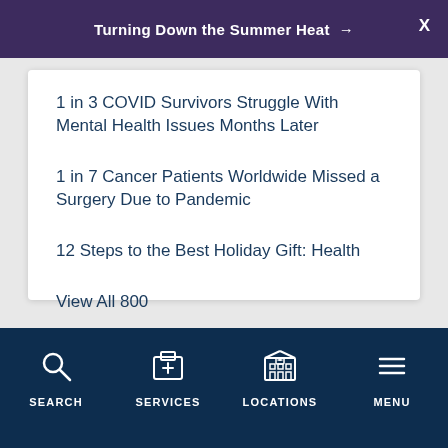Turning Down the Summer Heat →
1 in 3 COVID Survivors Struggle With Mental Health Issues Months Later
1 in 7 Cancer Patients Worldwide Missed a Surgery Due to Pandemic
12 Steps to the Best Holiday Gift: Health
View All 800
SEARCH  SERVICES  LOCATIONS  MENU